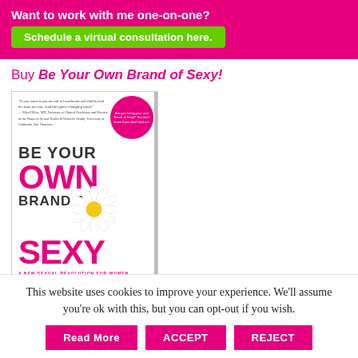Want to work with me one-on-one?
Schedule a virtual consultation here.
Buy Be Your Own Brand of Sexy!
[Figure (illustration): Book cover for 'Be Your Own Brand of Sexy' — white background with large bold pink and black text, a daisy flower in the center, a pink circular badge top right, small quote text top left, and subtitle 'A New Sexual Revolution for Women' at bottom.]
This website uses cookies to improve your experience. We'll assume you're ok with this, but you can opt-out if you wish.
Read More
ACCEPT
REJECT